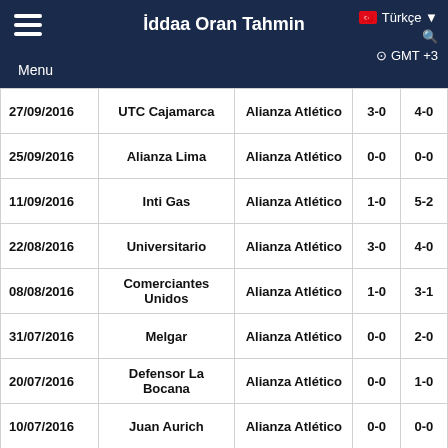İddaa Oran Tahmin — Türkçe GMT +3 Menu
| Date | Home | Away | HT | FT |
| --- | --- | --- | --- | --- |
| 27/09/2016 | UTC Cajamarca | Alianza Atlético | 3-0 | 4-0 |
| 25/09/2016 | Alianza Lima | Alianza Atlético | 0-0 | 0-0 |
| 11/09/2016 | Inti Gas | Alianza Atlético | 1-0 | 5-2 |
| 22/08/2016 | Universitario | Alianza Atlético | 3-0 | 4-0 |
| 08/08/2016 | Comerciantes Unidos | Alianza Atlético | 1-0 | 3-1 |
| 31/07/2016 | Melgar | Alianza Atlético | 0-0 | 2-0 |
| 20/07/2016 | Defensor La Bocana | Alianza Atlético | 0-0 | 1-0 |
| 10/07/2016 | Juan Aurich | Alianza Atlético | 0-0 | 0-0 |